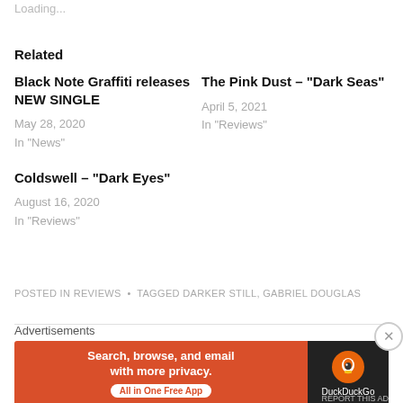Loading...
Related
Black Note Graffiti releases NEW SINGLE
May 28, 2020
In "News"
The Pink Dust – “Dark Seas”
April 5, 2021
In "Reviews"
Coldswell – “Dark Eyes”
August 16, 2020
In "Reviews"
POSTED IN REVIEWS  •  TAGGED DARKER STILL, GABRIEL DOUGLAS
[Figure (infographic): DuckDuckGo advertisement banner: orange left section with text 'Search, browse, and email with more privacy. All in One Free App' and dark right section with DuckDuckGo logo.]